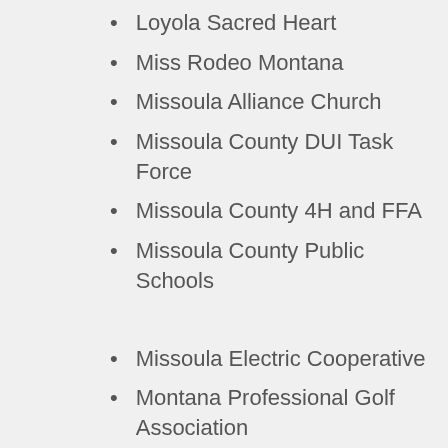Loyola Sacred Heart
Miss Rodeo Montana
Missoula Alliance Church
Missoula County DUI Task Force
Missoula County 4H and FFA
Missoula County Public Schools
Missoula Electric Cooperative
Montana Professional Golf Association
Missoula Developmental Service Corporation
Missoula Developmental Services
Missoula Electric Co-op
Missoula Food Bank
Missoula High School Rodeo
Missoula Mavericks
Missoula Osprey